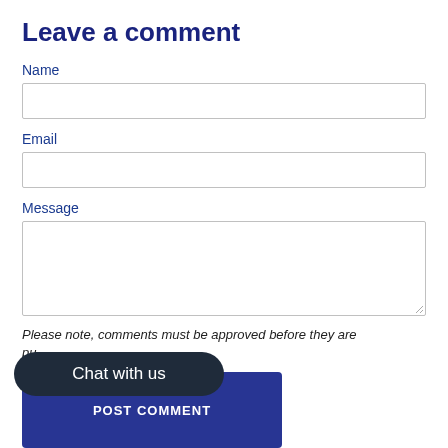Leave a comment
Name
Email
Message
Please note, comments must be approved before they are pu...
Chat with us
POST COMMENT